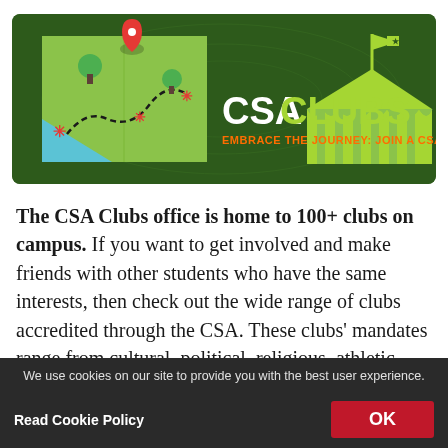[Figure (illustration): CSA Clubs banner on dark green background with a map illustration on the left (showing a folded map with location pin, dashed path, and asterisk markers), tent illustration on the right, text 'CSA CLUBS' in large letters (CSA in white, CLUBS in yellow-green), and tagline 'EMBRACE THE JOURNEY: JOIN A CSA CLUB!' in orange below.]
The CSA Clubs office is home to 100+ clubs on campus. If you want to get involved and make friends with other students who have the same interests, then check out the wide range of clubs accredited through the CSA. These clubs' mandates range from cultural, political, religious, athletic, social, or just for fun – there's something for everyone!
We use cookies on our site to provide you with the best user experience.
Read Cookie Policy    OK